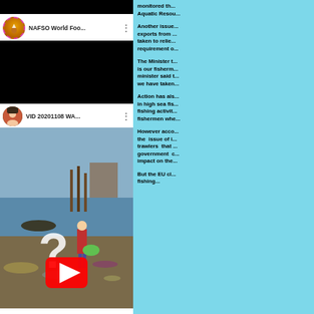[Figure (screenshot): Top black strip from a video or image]
[Figure (screenshot): YouTube video thumbnail for NAFSO World Foo... with NAFSO logo icon, black video area, three-dot menu]
[Figure (screenshot): YouTube video thumbnail for VID 20201108 WA... showing a child on a polluted beach with a large question mark and YouTube play button overlay]
monitored th... Aquatic Resou...
Another issue... exports from... taken to relie... requirement o...
The Minister t... is our fisherm... minister said t... we have taken...
Action has als... in high sea fis... fishing activit... fishermen whe...
However acco... the issue of i... trawlers that... government c... impact on the...
But the EU cl... fishing...